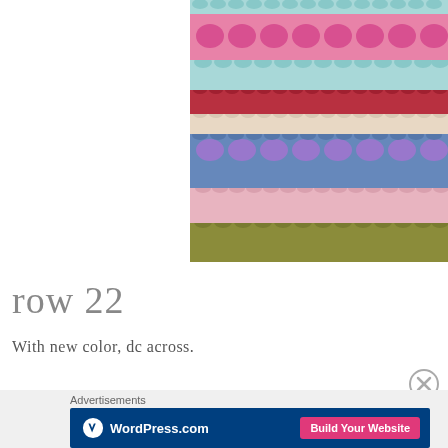[Figure (photo): Close-up photograph of colorful crochet rows in multiple colors including light blue, pink, red, cream, blue, purple, light pink, and olive green]
row 22
With new color, dc across.
Advertisements
[Figure (logo): WordPress.com advertisement banner with dark blue background, WordPress logo and 'Build Your Website' pink button]